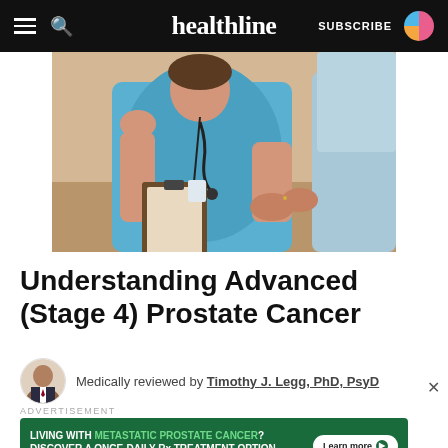healthline — SUBSCRIBE
[Figure (photo): A healthcare professional in blue scrubs holding a clipboard and stethoscope, consulting with a patient. Close-up medical consultation scene.]
Understanding Advanced (Stage 4) Prostate Cancer
Medically reviewed by Timothy J. Legg, PhD, PsyD
ADVERTISEMENT
LIVING WITH METASTATIC PROSTATE CANCER? DISCOVER A ONCE-DAILY Rx TREATMENT OPTION. ©2021 Astellas Pharma US, Inc. and Pfizer Inc. All rights reserved. 076-7217-PM 12/21